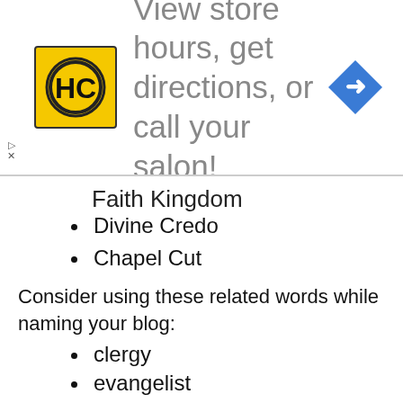[Figure (logo): HC salon logo - yellow square with HC letters in black circle]
View store hours, get directions, or call your salon!
Faith Kingdom
Divine Credo
Chapel Cut
Consider using these related words while naming your blog:
clergy
evangelist
messenger
pastor
preacher